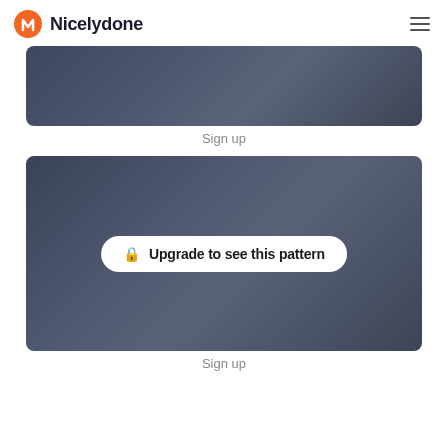Nicelydone
[Figure (screenshot): Dark blurred UI panel - Sign up pattern thumbnail]
Sign up
[Figure (screenshot): Dark blurred UI panel with 'Upgrade to see this pattern' badge overlay]
Sign up